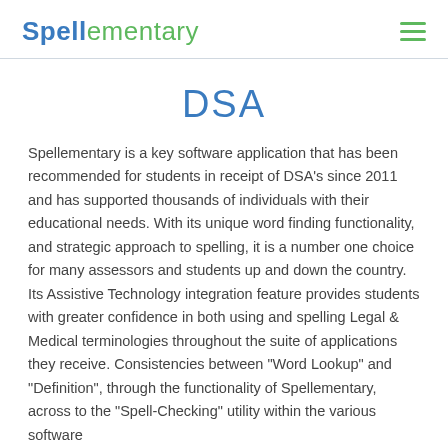Spellementary
DSA
Spellementary is a key software application that has been recommended for students in receipt of DSA's since 2011 and has supported thousands of individuals with their educational needs. With its unique word finding functionality, and strategic approach to spelling, it is a number one choice for many assessors and students up and down the country. Its Assistive Technology integration feature provides students with greater confidence in both using and spelling Legal & Medical terminologies throughout the suite of applications they receive. Consistencies between "Word Lookup" and "Definition", through the functionality of Spellementary, across to the "Spell-Checking" utility within the various software